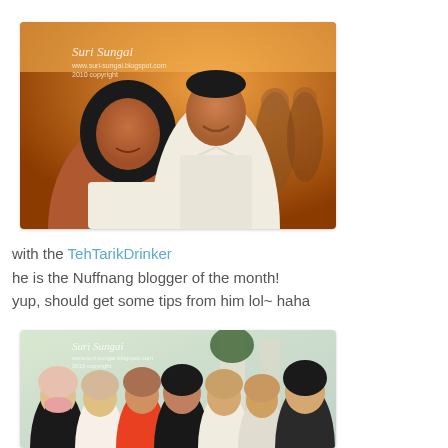[Figure (photo): Two people posing indoors at a social event with warm orange ambient lighting. A woman wearing a hijab on the left and a tall man in white shirt on the right, smiling at camera. Watermark 'Suri Sungai' visible top left.]
with the TehTarikDrinker
he is the Nuffnang blogger of the month!
yup, should get some tips from him lol~ haha
[Figure (photo): Group photo of approximately 7 people posing together outdoors or in a lobby area. Several women in hijabs and casual dress, one man on the right in a dark jacket. Watermark 'Suri Sungai' visible top left.]